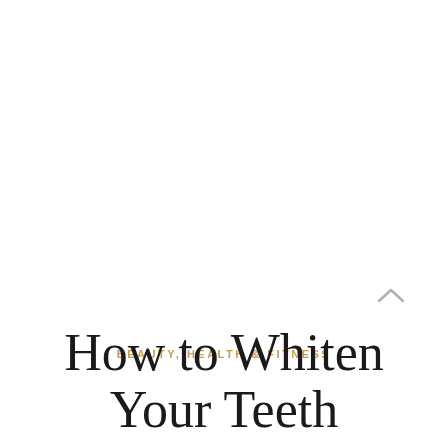BEAUTY, HEALTH & FITNESS
How to Whiten Your Teeth